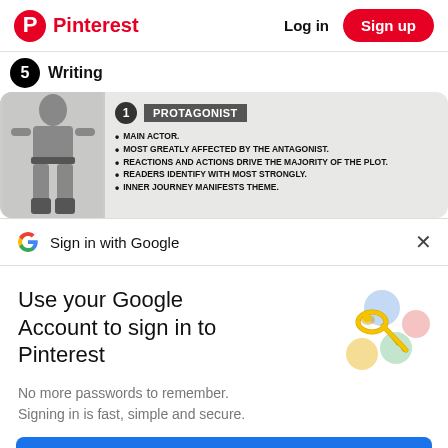Pinterest  Log in  Sign up
Writing
[Figure (infographic): Infographic showing character type '1 PROTAGONIST' with a superhero figure and bullet points: MAIN ACTOR. MOST GREATLY AFFECTED BY THE ANTAGONIST. REACTIONS AND ACTIONS DRIVE THE MAJORITY OF THE PLOT. READERS IDENTIFY WITH MOST STRONGLY. INNER JOURNEY MANIFESTS THEME.]
Sign in with Google
Use your Google Account to sign in to Pinterest
No more passwords to remember. Signing in is fast, simple and secure.
[Figure (illustration): Google sign-in illustration with key and colorful shapes]
Continue